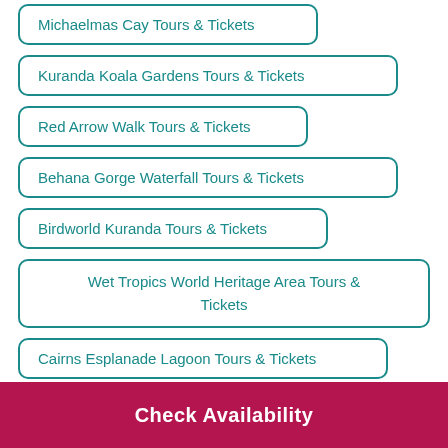Michaelmas Cay Tours & Tickets
Kuranda Koala Gardens Tours & Tickets
Red Arrow Walk Tours & Tickets
Behana Gorge Waterfall Tours & Tickets
Birdworld Kuranda Tours & Tickets
Wet Tropics World Heritage Area Tours & Tickets
Cairns Esplanade Lagoon Tours & Tickets
Check Availability